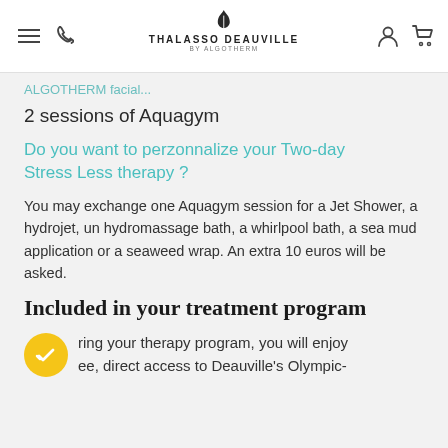THALASSO DEAUVILLE BY ALGOTHERM
ALGOTHERM facial...
2 sessions of Aquagym
Do you want to perzonnalize your Two-day Stress Less therapy ?
You may exchange one Aquagym session for a Jet Shower, a hydrojet, un hydromassage bath, a whirlpool bath, a sea mud application or a seaweed wrap. An extra 10 euros will be asked.
Included in your treatment program
ring your therapy program, you will enjoy ee, direct access to Deauville's Olympic-